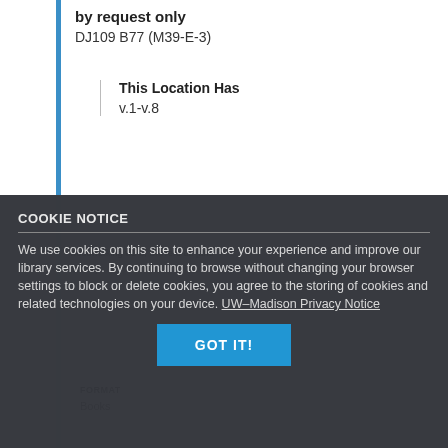by request only
DJ109 B77 (M39-E-3)
This Location Has
v.1-v.8
COOKIE NOTICE
We use cookies on this site to enhance your experience and improve our library services. By continuing to browse without changing your browser settings to block or delete cookies, you agree to the storing of cookies and related technologies on your device. UW–Madison Privacy Notice
GOT IT!